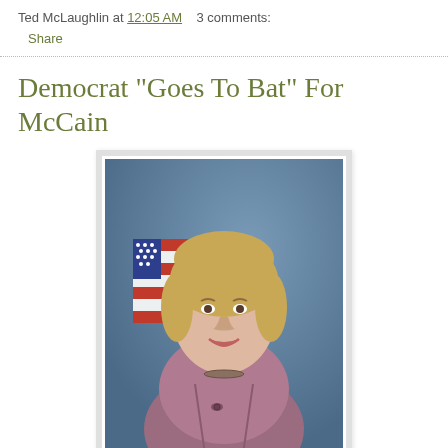Ted McLaughlin at 12:05 AM   3 comments:
Share
Democrat "Goes To Bat" For McCain
[Figure (photo): Official portrait of a woman with blonde bob haircut in a mauve/pink blazer, smiling, with an American flag in the background]
Make no mistake about it -- Senator Claire